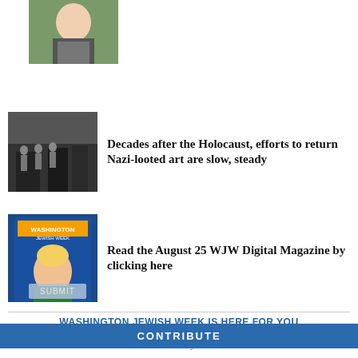[Figure (photo): Portrait photo of a smiling young man in a suit, partially cropped at top]
[Figure (photo): Black and white historical photo showing people near a building, related to Holocaust]
Decades after the Holocaust, efforts to return Nazi-looted art are slow, steady
[Figure (photo): Washington Jewish Week magazine cover showing a blonde woman]
Read the August 25 WJW Digital Magazine by clicking here
WASHINGTON JEWISH WEEK IS HERE FOR YOU
Your voluntary contribution supports our efforts to deliver content that engages and helps strengthen the Jewish community in the DMV.
CONTRIBUTE
Sharon Kass
June 20, 2016. At 1:55 PM
The real information on "transgender" is here: